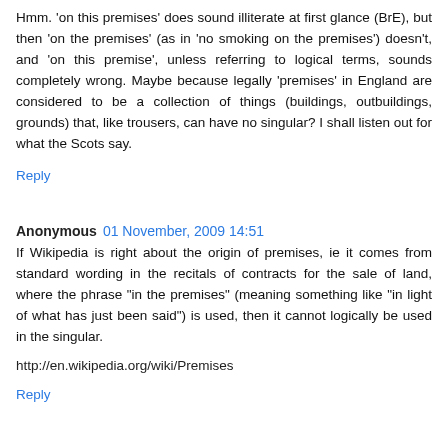Hmm. 'on this premises' does sound illiterate at first glance (BrE), but then 'on the premises' (as in 'no smoking on the premises') doesn't, and 'on this premise', unless referring to logical terms, sounds completely wrong. Maybe because legally 'premises' in England are considered to be a collection of things (buildings, outbuildings, grounds) that, like trousers, can have no singular? I shall listen out for what the Scots say.
Reply
Anonymous  01 November, 2009 14:51
If Wikipedia is right about the origin of premises, ie it comes from standard wording in the recitals of contracts for the sale of land, where the phrase "in the premises" (meaning something like "in light of what has just been said") is used, then it cannot logically be used in the singular.
http://en.wikipedia.org/wiki/Premises
Reply